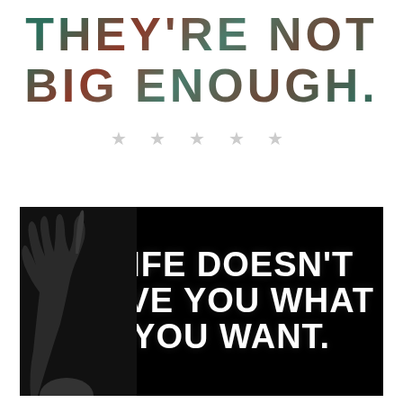[Figure (illustration): Motivational text graphic with textured/nature-filled letters on white background reading THEY'RE NOT BIG ENOUGH. followed by five light gray stars, and below a black and white photo of a person pointing upward with bold white text overlay reading LIFE DOESN'T GIVE YOU WHAT YOU WANT.]